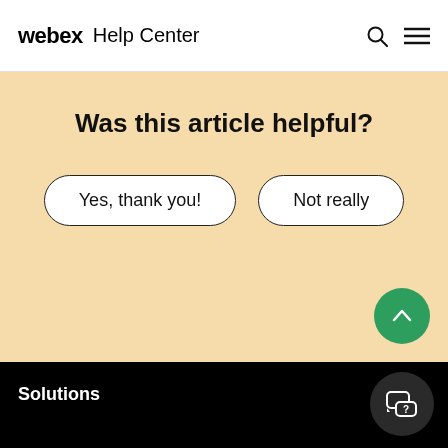webex Help Center
Was this article helpful?
Yes, thank you!
Not really
Solutions